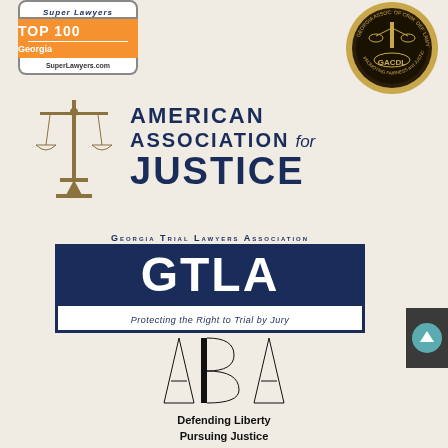[Figure (logo): Super Lawyers Top 100 Georgia badge with orange accent and SuperLawyers.com URL]
[Figure (logo): GACDL Georgia Association of Criminal Defense Lawyers circular medal badge]
[Figure (logo): American Association for Justice logo with scales of justice icon and navy blue text]
[Figure (logo): Georgia Trial Lawyers Association (GTLA) logo with navy blue box and tagline: Protecting the Right to Trial by Jury]
[Figure (logo): ABA logo with triangular A-B-A letterforms and text: Defending Liberty Pursuing Justice]
[Figure (other): Dark scroll-to-top button with teal circle and upward arrow]